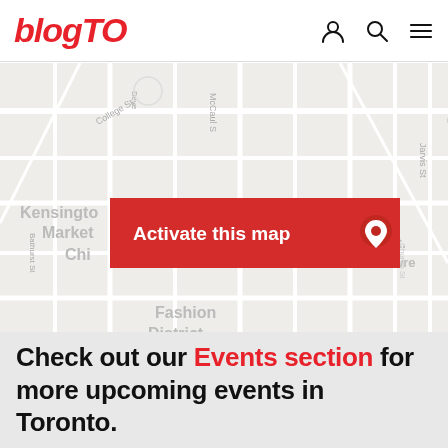blogTO
[Figure (map): Street map of downtown Toronto showing Kensington Market, Fashion District, Financial District, St. Lawrence area, Ryerson University, College St, Church St, Bathurst St, John St, Jarvis St, Dundas St. Map has a red 'Activate this map' button overlay. Attribution: Leaflet | © Mapbox © OpenStreetMap Improve this map]
Check out our Events section for more upcoming events in Toronto.